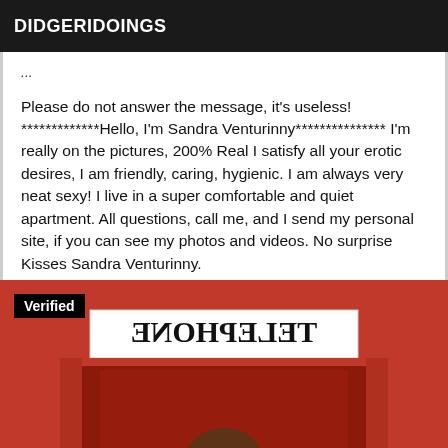DIDGERIDOINGS
Please do not answer the message, it's useless! *************Hello, I'm Sandra Venturinny*************** I'm really on the pictures, 200% Real I satisfy all your erotic desires, I am friendly, caring, hygienic. I am always very neat sexy! I live in a super comfortable and quiet apartment. All questions, call me, and I send my personal site, if you can see my photos and videos. No surprise Kisses Sandra Venturinny.
[Figure (photo): Photo of a woman inside a red British telephone booth with reversed TELEPHONE sign, with a Verified badge overlay in top-left corner]